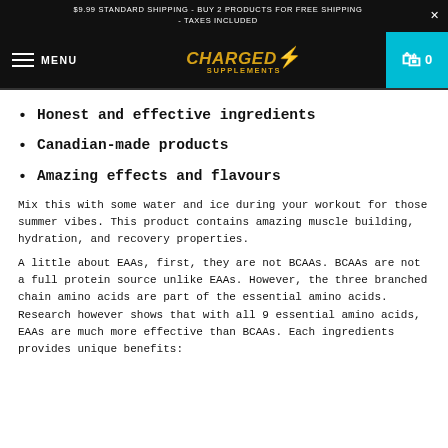$9.99 STANDARD SHIPPING - BUY 2 PRODUCTS FOR FREE SHIPPING - TAXES INCLUDED
MENU | CHARGED SUPPLEMENTS | 0
Honest and effective ingredients
Canadian-made products
Amazing effects and flavours
Mix this with some water and ice during your workout for those summer vibes. This product contains amazing muscle building, hydration, and recovery properties.
A little about EAAs, first, they are not BCAAs. BCAAs are not a full protein source unlike EAAs. However, the three branched chain amino acids are part of the essential amino acids. Research however shows that with all 9 essential amino acids, EAAs are much more effective than BCAAs. Each ingredients provides unique benefits: